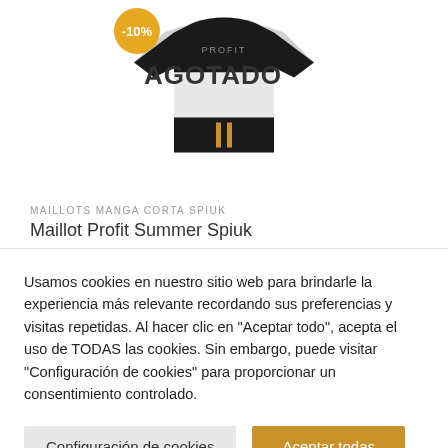[Figure (photo): Cycling jersey (Maillot Profit Summer Spiuk) in black and white colors with gold details, shown with 'AGOTADO' (sold out) overlay text and a -10% discount badge in orange.]
MAILLOTS MANGA CORTA SPIUK
Maillot Profit Summer Spiuk
Usamos cookies en nuestro sitio web para brindarle la experiencia más relevante recordando sus preferencias y visitas repetidas. Al hacer clic en "Aceptar todo", acepta el uso de TODAS las cookies. Sin embargo, puede visitar "Configuración de cookies" para proporcionar un consentimiento controlado.
Configuración de cookies
Aceptar todas